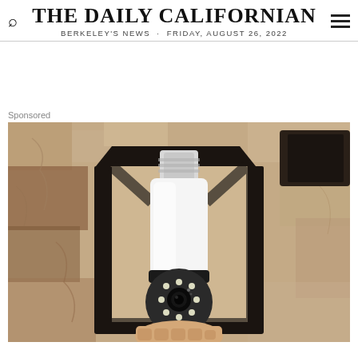THE DAILY CALIFORNIAN — BERKELEY'S NEWS · FRIDAY, AUGUST 26, 2022
Sponsored
[Figure (photo): A light bulb security camera with a circular camera eye and LED ring light, installed in a black outdoor wall lantern fixture mounted on a stucco/stone wall. A hand is visible at the bottom holding or installing the device.]